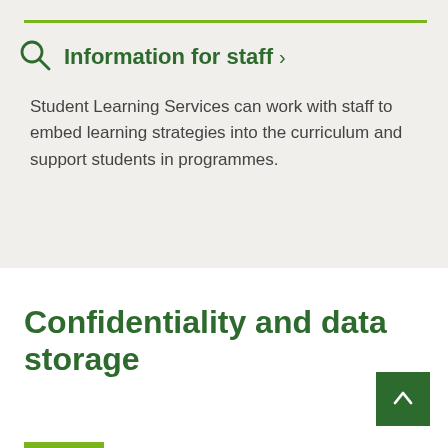Information for staff >
Student Learning Services can work with staff to embed learning strategies into the curriculum and support students in programmes.
Confidentiality and data storage